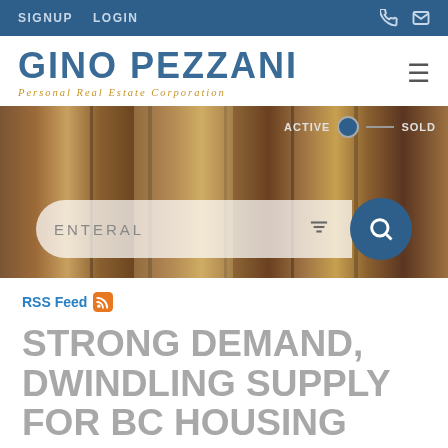SIGNUP   LOGIN
GINO PEZZANI
Personal Real Estate Corporation
[Figure (screenshot): Hero image showing wooden door/slat background with search bar overlay reading ENTERAL, filter icon, and blue search button. Active/Sold toggle in top right.]
RSS Feed
STRONG DEMAND, DWINDLING SUPPLY FOR BC HOUSING